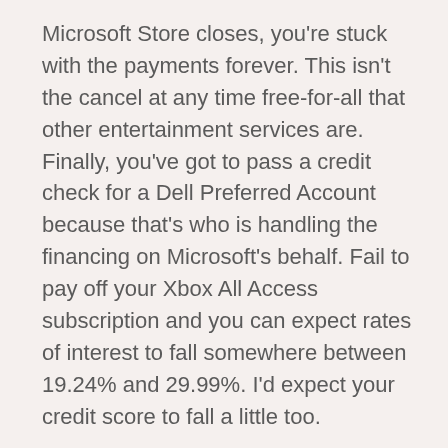Microsoft Store closes, you're stuck with the payments forever. This isn't the cancel at any time free-for-all that other entertainment services are. Finally, you've got to pass a credit check for a Dell Preferred Account because that's who is handling the financing on Microsoft's behalf. Fail to pay off your Xbox All Access subscription and you can expect rates of interest to fall somewhere between 19.24% and 29.99%. I'd expect your credit score to fall a little too.